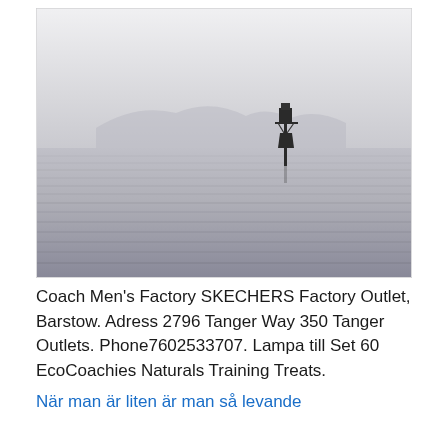[Figure (photo): Black and white photograph of a calm ocean or lake scene with a navigational buoy or marker in the center-right of the frame, with faint misty mountains visible on the horizon in the background.]
Coach Men's Factory SKECHERS Factory Outlet, Barstow. Adress 2796 Tanger Way 350 Tanger Outlets. Phone7602533707. Lampa till Set 60 EcoCoachies Naturals Training Treats.
När man är liten är man så levande